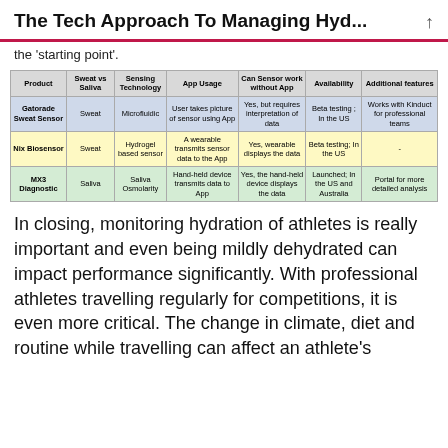The Tech Approach To Managing Hyd...
the 'starting point'.
| Product | Sweat vs Saliva | Sensing Technology | App Usage | Can Sensor work without App | Availability | Additional features |
| --- | --- | --- | --- | --- | --- | --- |
| Gatorade Sweat Sensor | Sweat | Microfluidic | User takes picture of sensor using App | Yes, but requires interpretation of data | Beta testing; In the US | Works with Kinduct for professional teams |
| Nix Biosensor | Sweat | Hydrogel based sensor | A wearable transmits sensor data to the App | Yes, wearable displays the data | Beta testing; In the US | - |
| MX3 Diagnostic | Saliva | Saliva Osmolarity | Hand-held device transmits data to App | Yes, the hand-held device displays the data | Launched; In the US and Australia | Portal for more detailed analysis |
In closing, monitoring hydration of athletes is really important and even being mildly dehydrated can impact performance significantly. With professional athletes travelling regularly for competitions, it is even more critical. The change in climate, diet and routine while travelling can affect an athlete's